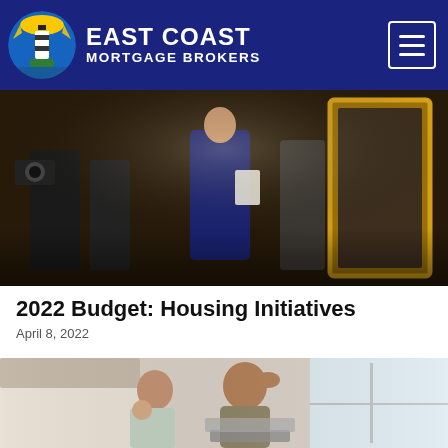East Coast Mortgage Brokers
[Figure (photo): People at a formal event, a woman in a blue dress holding papers, photographers nearby, gold-framed artwork in background]
2022 Budget: Housing Initiatives
April 8, 2022
[Figure (photo): Man and woman looking stressed at a laptop in a kitchen/home office setting]